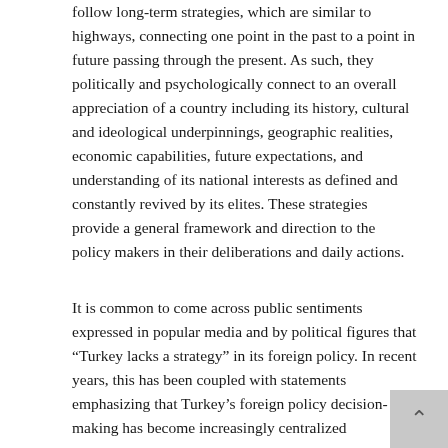follow long-term strategies, which are similar to highways, connecting one point in the past to a point in future passing through the present. As such, they politically and psychologically connect to an overall appreciation of a country including its history, cultural and ideological underpinnings, geographic realities, economic capabilities, future expectations, and understanding of its national interests as defined and constantly revived by its elites. These strategies provide a general framework and direction to the policy makers in their deliberations and daily actions.
It is common to come across public sentiments expressed in popular media and by political figures that “Turkey lacks a strategy” in its foreign policy. In recent years, this has been coupled with statements emphasizing that Turkey’s foreign policy decision-making has become increasingly centralized